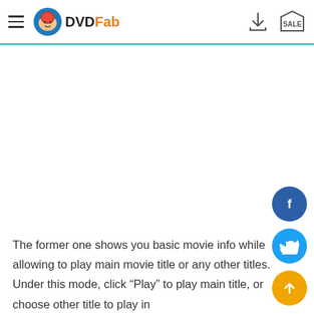DVDFab
[Figure (logo): DVDFab logo with circular character icon and bold DVDFab text, plus download icon and SALE tag in header]
[Figure (illustration): Facebook circular button (blue), Twitter circular button (light blue), and scroll-to-top circular button (yellow/orange) floating on right side]
The former one shows you basic movie info while allowing to play main movie title or any other titles. Under this mode, click "Play" to play main title, or choose other title to play in